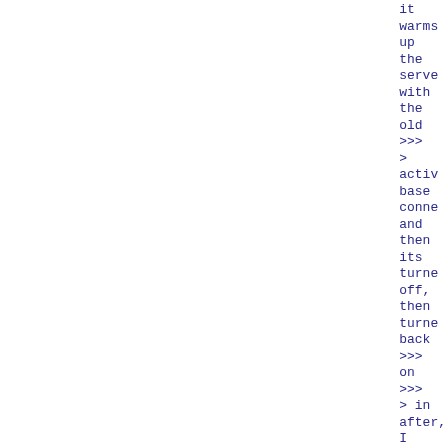it
warms
up
the
serve
with
the
old
>>>
>
activ
base
conne
and
then
its
turne
off,
then
turne
back
>>>
on
>>>
> in
after,
I
think
I am
not